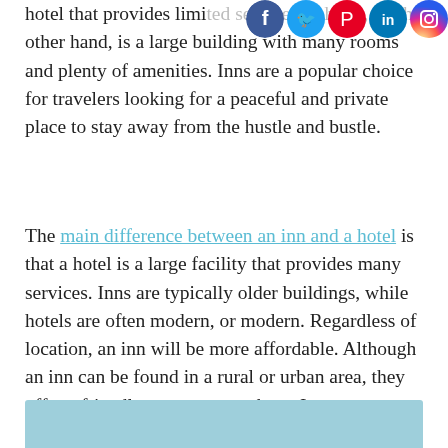[Figure (other): Social media icons for Facebook, Twitter, Pinterest, LinkedIn, and Instagram arranged in a row at the top right of the page]
hotel that provides limi... other hand, is a large building with many rooms and plenty of amenities. Inns are a popular choice for travelers looking for a peaceful and private place to stay away from the hustle and bustle.
The main difference between an inn and a hotel is that a hotel is a large facility that provides many services. Inns are typically older buildings, while hotels are often modern, or modern. Regardless of location, an inn will be more affordable. Although an inn can be found in a rural or urban area, they offer a friendly, warm atmosphere. Inns are a more intimate option and are great for those with tight budgets.
[Figure (other): Light blue/teal horizontal banner at the bottom of the page]